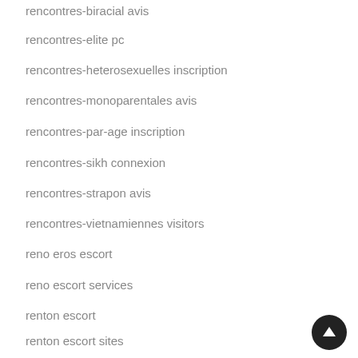rencontres-biracial avis
rencontres-elite pc
rencontres-heterosexuelles inscription
rencontres-monoparentales avis
rencontres-par-age inscription
rencontres-sikh connexion
rencontres-strapon avis
rencontres-vietnamiennes visitors
reno eros escort
reno escort services
renton escort
renton escort sites
reveal sign in